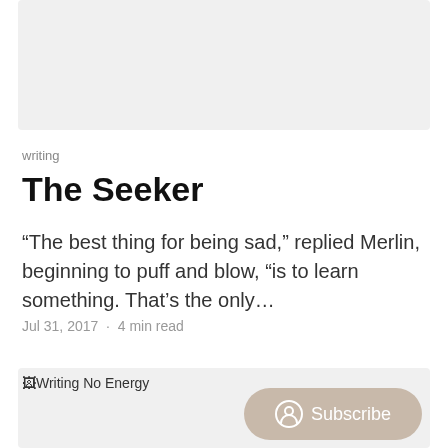[Figure (photo): Gray placeholder image at top of page]
writing
The Seeker
“The best thing for being sad,” replied Merlin, beginning to puff and blow, “is to learn something. That’s the only…
Jul 31, 2017 · 4 min read
[Figure (photo): Writing No Energy - broken image placeholder with Subscribe button overlay]